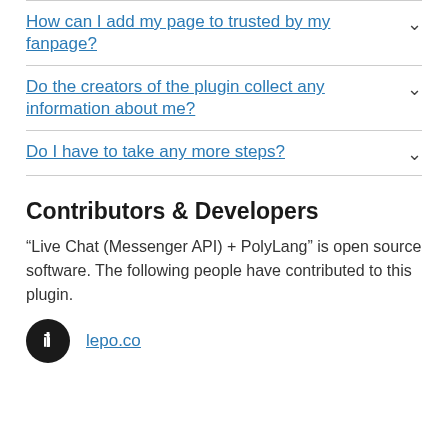How can I add my page to trusted by my fanpage?
Do the creators of the plugin collect any information about me?
Do I have to take any more steps?
Contributors & Developers
“Live Chat (Messenger API) + PolyLang” is open source software. The following people have contributed to this plugin.
lepo.co